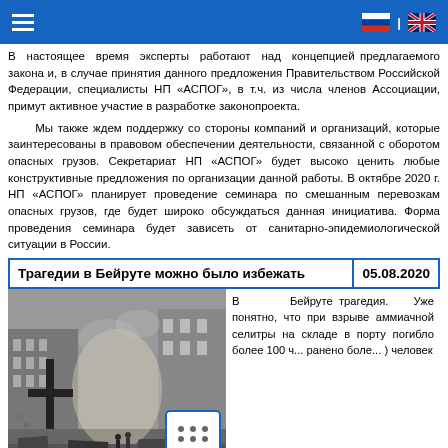Navigation header with hamburger menu and language flags (RU | EN)
В настоящее время эксперты работают над концепцией предлагаемого закона и, в случае принятия данного предложения Правительством Российской Федерации, специалисты НП «АСПОГ», в т.ч. из числа членов Ассоциации, примут активное участие в разработке законопроекта.
Мы также ждем поддержку со стороны компаний и организаций, которые заинтересованы в правовом обеспечении деятельности, связанной с оборотом опасных грузов. Секретариат НП «АСПОГ» будет высоко ценить любые конструктивные предложения по организации данной работы. В октябре 2020 г. НП «АСПОГ» планирует проведение семинара по смешанным перевозкам опасных грузов, где будет широко обсуждаться данная инициатива. Форма проведения семинара будет зависеть от санитарно-эпидемиологической ситуации в России.
Трагедии в Бейруте можно было избежать
05.08.2020
[Figure (photo): Black and white photo of destroyed Beirut street after explosion, with cross and rubble visible]
В Бейруте трагедия. Уже понятно, что при взрыве аммиачной селитры на складе в порту погибло более 100 ч... ранено боле... человек
Расследование